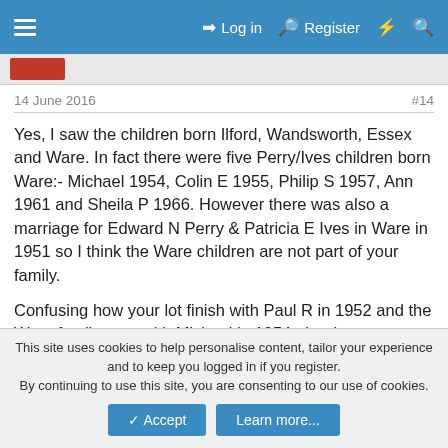Log in   Register
14 June 2016   #14
Yes, I saw the children born Ilford, Wandsworth, Essex and Ware. In fact there were five Perry/Ives children born Ware:- Michael 1954, Colin E 1955, Philip S 1957, Ann 1961 and Sheila P 1966. However there was also a marriage for Edward N Perry & Patricia E Ives in Ware in 1951 so I think the Ware children are not part of your family.

Confusing how your lot finish with Paul R in 1952 and the Ware family start with Michael in 1954, the dates definitely look like one big family but I think the Ware marriage gives us two families.
This site uses cookies to help personalise content, tailor your experience and to keep you logged in if you register.
By continuing to use this site, you are consenting to our use of cookies.
Accept   Learn more...